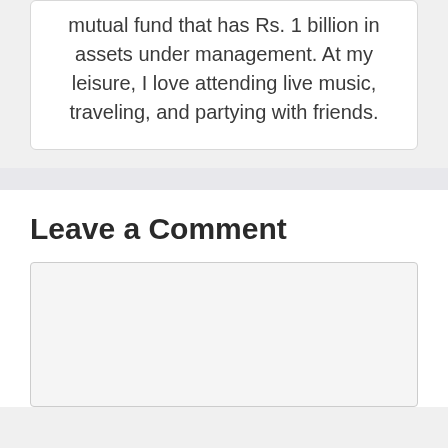mutual fund that has Rs. 1 billion in assets under management. At my leisure, I love attending live music, traveling, and partying with friends.
Leave a Comment